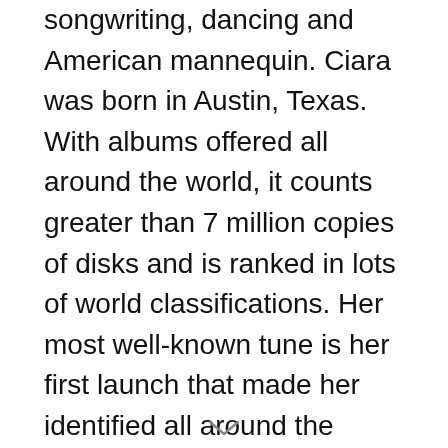Princess Harris, greatest referred to as Ciara, is a songwriting, dancing and American mannequin. Ciara was born in Austin, Texas. With albums offered all around the world, it counts greater than 7 million copies of disks and is ranked in lots of world classifications. Her most well-known tune is her first launch that made her identified all around the world: 1.2 step. A few of the tune titles she's releasing are goodies, rise up, promise, love, intercourse, magic – justin timberlake, work-ms. Elliott, trip it & oh me loopy chris, like a boy and many others. In classifying the 100 greatest songs a 12 months, she has held first place. She is famend for her extraordinary model in hip-hop and r & b.